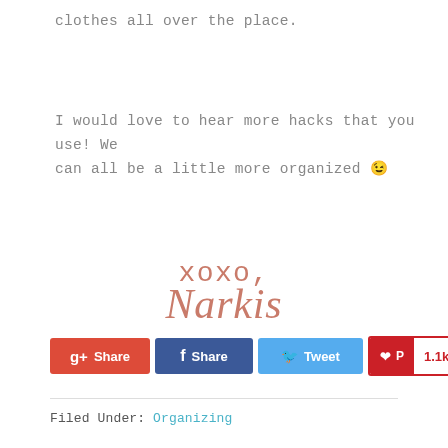clothes all over the place.
I would love to hear more hacks that you use! We can all be a little more organized 😉
[Figure (illustration): Handwritten style signature reading 'xoxo, Narkis' in rose/terracotta color]
[Figure (infographic): Social share buttons: g+ Share, f Share, Tweet, Pinterest 1.1k, StumbleUpon 0]
Filed Under: Organizing